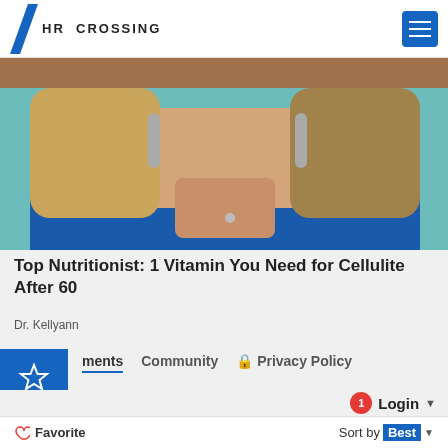HR CROSSING
[Figure (photo): A woman with blonde hair wearing a blue top and large earrings, hands pressed together near chin]
Top Nutritionist: 1 Vitamin You Need for Cellulite After 60
Dr. Kellyann
ments  Community  Privacy Policy
1  Login
Favorite  Sort by Best